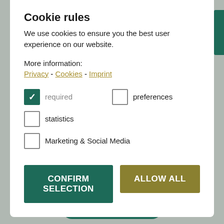Cookie rules
We use cookies to ensure you the best user experience on our website.
More information:
Privacy - Cookies - Imprint
required (checked)
preferences (unchecked)
statistics (unchecked)
Marketing & Social Media (unchecked)
CONFIRM SELECTION | ALLOW ALL
filled with South Tyrolean wines and good food that create unforgettable memories. There are virtually no limits to the variety of activities and sports you can do!